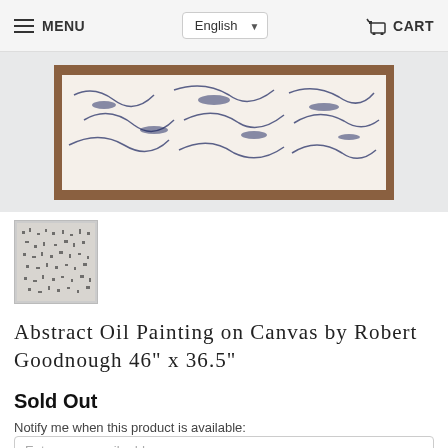MENU  English  CART
[Figure (photo): Partial view of an abstract oil painting on canvas by Robert Goodnough, showing a framed artwork with blue and dark brushstroke patterns on light background, displayed on a light gray surface.]
[Figure (photo): Thumbnail image of the abstract oil painting showing scattered dark marks/brushstrokes across the canvas surface.]
Abstract Oil Painting on Canvas by Robert Goodnough 46" x 36.5"
Sold Out
Notify me when this product is available:
Enter your email address...